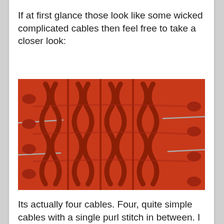If at first glance those look like some wicked complicated cables then feel free to take a closer look:
[Figure (photo): Close-up photograph of rust/orange-red knitted cable stitch swatch with knitting needles visible on the left and right sides, showing four cables separated by purl stitches on a light grey background.]
Its actually four cables. Four, quite simple cables with a single purl stitch in between. I like making simple things which look complicated almost as much as I like reading my thesaurus.